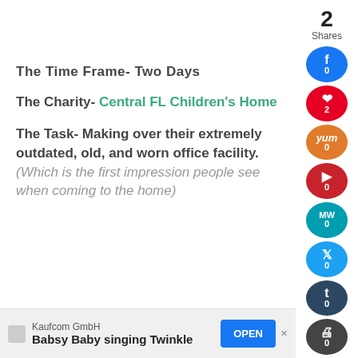The Time Frame- Two Days
The Charity- Central FL Children's Home
The Task- Making over their extremely outdated, old, and worn office facility. (Which is the first impression people see when coming to the home)
[Figure (other): Social sharing sidebar with Facebook (0), Pinterest (2), Yummly (0), Parler (0), MeWe (0), Twitter (0), Tumblr (0), Print (0), Email (0) icons and share count of 2]
Kaufcom GmbH Babsy Baby singing Twinkle OPEN